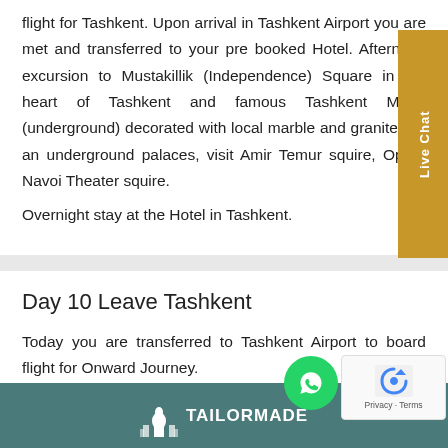flight for Tashkent. Upon arrival in Tashkent Airport you are met and transferred to your pre booked Hotel. Afternoon excursion to Mustakillik (Independence) Square in the heart of Tashkent and famous Tashkent Metro (underground) decorated with local marble and granite like an underground palaces, visit Amir Temur squire, Opera Navoi Theater squire.
Overnight stay at the Hotel in Tashkent.
Day 10 Leave Tashkent
Today you are transferred to Tashkent Airport to board flight for Onward Journey.
[Figure (logo): Tailormade Journeys logo with building/taj mahal silhouette icon and text TAILORMADE in white on teal background footer bar]